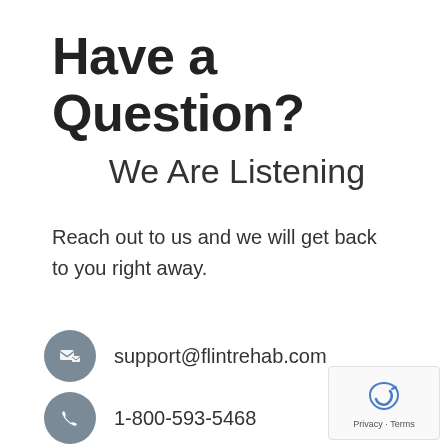Have a Question?
We Are Listening
Reach out to us and we will get back to you right away.
support@flintrehab.com
1-800-593-5468